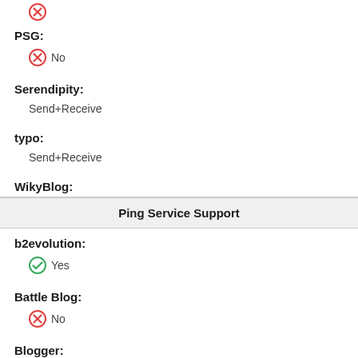PSG:
No
Serendipity:
Send+Receive
typo:
Send+Receive
WikyBlog:
Ping Service Support
b2evolution:
Yes
Battle Blog:
No
Blogger:
No